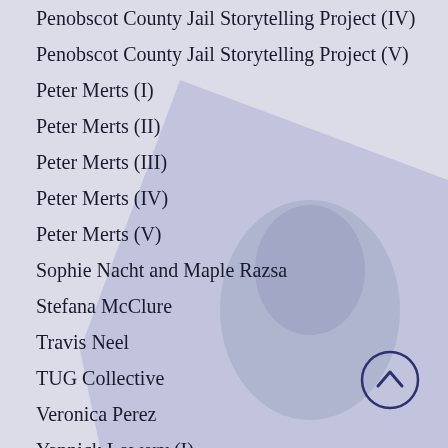Penobscot County Jail Storytelling Project (IV)
Penobscot County Jail Storytelling Project (V)
Peter Merts (I)
Peter Merts (II)
Peter Merts (III)
Peter Merts (IV)
Peter Merts (V)
Sophie Nacht and Maple Razsa
Stefana McClure
Travis Neel
TUG Collective
Veronica Perez
Yannick Lowery (I)
Yannick Lowery (II)
Yannick Lowery (III)